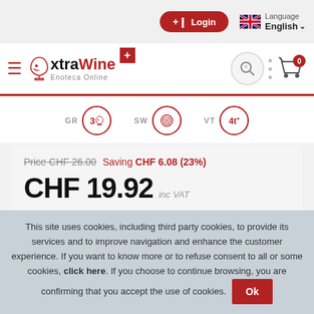[Figure (screenshot): Top navigation bar with Login button and Language/English selector with UK flag]
[Figure (logo): xtraWine Enoteca Online logo with wine glass icon, red cross, hamburger menu, search and cart icons]
[Figure (infographic): Three icon groups: GR-3 (wine glass), SW (spiral), VT-4t (circle with t)]
Price CHF 26.00 Saving CHF 6.08 (23%)
CHF 19.92 inc VAT
1
BUY
This site uses cookies, including third party cookies, to provide its services and to improve navigation and enhance the customer experience. If you want to know more or to refuse consent to all or some cookies, click here. If you choose to continue browsing, you are confirming that you accept the use of cookies. Ok